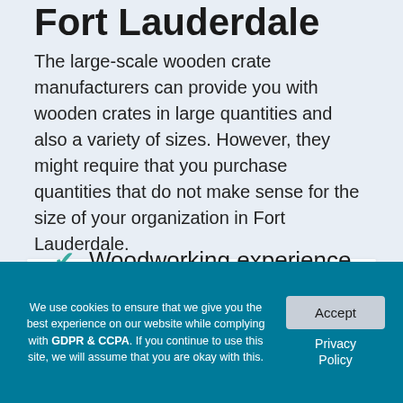Fort Lauderdale
The large-scale wooden crate manufacturers can provide you with wooden crates in large quantities and also a variety of sizes. However, they might require that you purchase quantities that do not make sense for the size of your organization in Fort Lauderdale.
✓ Woodworking experience
We use cookies to ensure that we give you the best experience on our website while complying with GDPR & CCPA. If you continue to use this site, we will assume that you are okay with this.